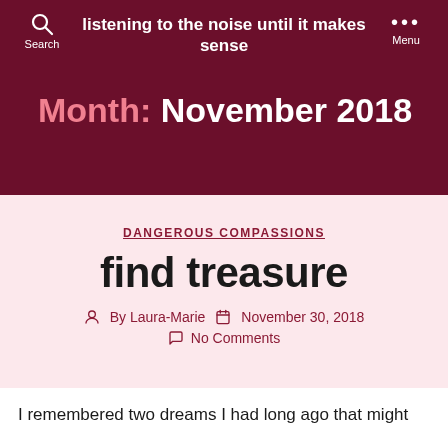listening to the noise until it makes sense
Month: November 2018
DANGEROUS COMPASSIONS
find treasure
By Laura-Marie   November 30, 2018   No Comments
I remembered two dreams I had long ago that might